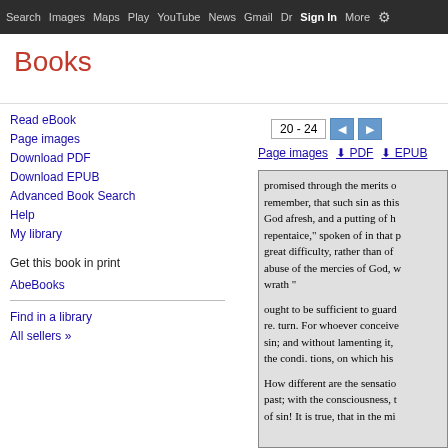Search  Images  Maps  Play  YouTube  News  Gmail  Drive  More  Sign in  (gear icon)
Books
20 - 24
Page images  ↓ PDF  ↓ EPUB
Read eBook
Page images
Download PDF
Download EPUB
Advanced Book Search
Help
My library
Get this book in print
AbeBooks
Find in a library
All sellers »
[Figure (screenshot): Scanned book page text showing partial paragraphs about sin, repentance, and mercies of God, and sensations of the past.]